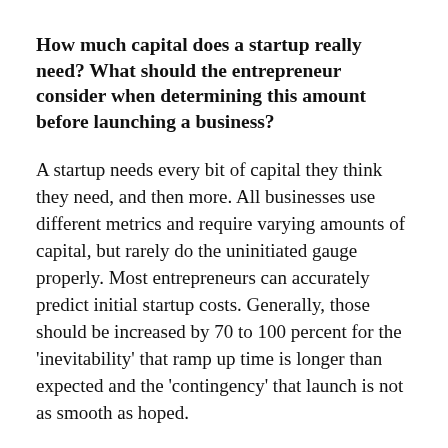How much capital does a startup really need? What should the entrepreneur consider when determining this amount before launching a business?
A startup needs every bit of capital they think they need, and then more. All businesses use different metrics and require varying amounts of capital, but rarely do the uninitiated gauge properly. Most entrepreneurs can accurately predict initial startup costs. Generally, those should be increased by 70 to 100 percent for the 'inevitability' that ramp up time is longer than expected and the 'contingency' that launch is not as smooth as hoped.
Can you recommend a formula small business